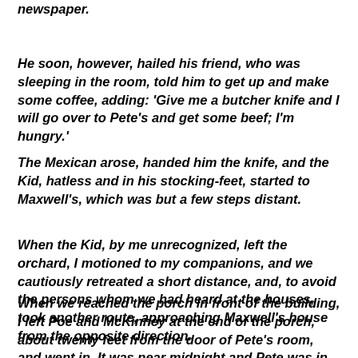newspaper.
He soon, however, hailed his friend, who was sleeping in the room, told him to get up and make some coffee, adding: 'Give me a butcher knife and I will go over to Pete's and get some beef; I'm hungry.'
The Mexican arose, handed him the knife, and the Kid, hatless and in his stocking-feet, started to Maxwell's, which was but a few steps distant.
When the Kid, by me unrecognized, left the orchard, I motioned to my companions, and we cautiously retreated a short distance, and, to avoid the persons whom we had heard at the houses, took another route, approaching Maxwell's house from the opposite direction.
When we reached the porch in front of the building, I left Poe and McKinney at the end of the porch, about twenty feet from the door of Pete's room, and went in. It was near midnight and Pete was in bed.